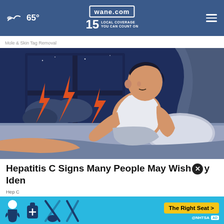65°  wane.com  15  LOCAL COVERAGE YOU CAN COUNT ON
Mole & Skin Tag Removal
[Figure (illustration): Illustration of a man in a white tank top sitting up in bed at night, clutching his leg. Through the window behind him are orange lightning bolt shapes on a dark stormy background.]
Hepatitis C Signs Many People May Wish They Had Identified Sooner
Hep C
[Figure (infographic): Blue NHTSA ad banner with car seat safety icons and a yellow 'The Right Seat >' button.]